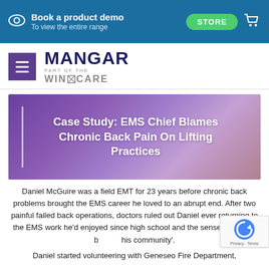Book a product demo — To view the entire range | STORE
[Figure (logo): Mangar logo — part of the Wincare Group, with hamburger menu icon]
[Figure (photo): Purple/violet blurred background hero banner with title: Case Study: EMS Chief Blames Chronic Back Pain On Lifting Practices]
Case Study: EMS Chief Blames Chronic Back Pain On Lifting Practices
Daniel McGuire was a field EMT for 23 years before chronic back problems brought the EMS career he loved to an abrupt end. After two painful failed back operations, doctors ruled out Daniel ever returning to the EMS work he'd enjoyed since high school and the sense of, 'giving b... his community'.
Daniel started volunteering with Geneseo Fire Department,